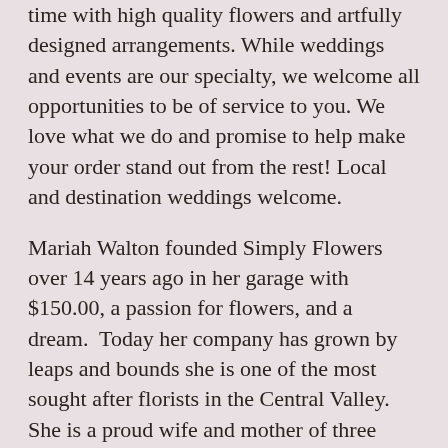time with high quality flowers and artfully designed arrangements. While weddings and events are our specialty, we welcome all opportunities to be of service to you. We love what we do and promise to help make your order stand out from the rest! Local and destination weddings welcome.
Mariah Walton founded Simply Flowers over 14 years ago in her garage with $150.00, a passion for flowers, and a dream.  Today her company has grown by leaps and bounds she is one of the most sought after florists in the Central Valley.  She is a proud wife and mother of three amazing children.
At SF we've brought together a team of some of the best floral designers and production assistants in the industry.  Each designer has their unique style that they bring forth whether it be a custom arrangement going out for a delivery; Or when